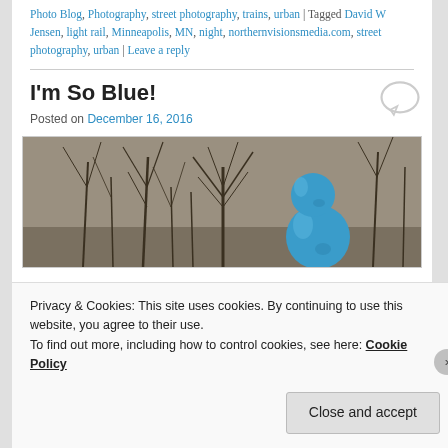Photo Blog, Photography, street photography, trains, urban | Tagged David W Jensen, light rail, Minneapolis, MN, night, northernvisionsmedia.com, street photography, urban | Leave a reply
I'm So Blue!
Posted on December 16, 2016
[Figure (photo): A photo showing a blue snowman (two blue spherical balls stacked) against a background of bare winter trees in black and white/sepia tones.]
Privacy & Cookies: This site uses cookies. By continuing to use this website, you agree to their use.
To find out more, including how to control cookies, see here: Cookie Policy